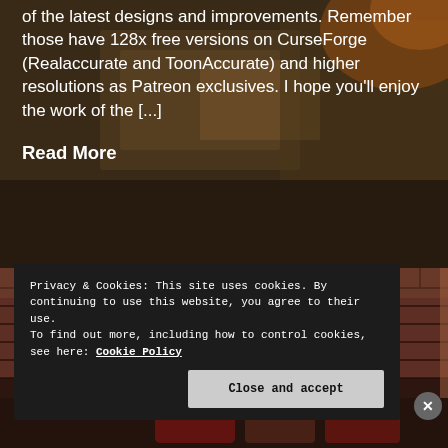[Figure (screenshot): Dark game texture background image showing a tabletop or crafting surface]
of the latest designs and improvements. Remember those have 128x free versions on CurseForge (Realaccurate and ToonAccurate) and higher resolutions as Patreon exclusives. I hope you'll enjoy the work of the [...]
Read More
[Figure (screenshot): Game screenshot showing a brick wall environment, dark themed game level]
Privacy & Cookies: This site uses cookies. By continuing to use this website, you agree to their use.
To find out more, including how to control cookies, see here: Cookie Policy
Close and accept